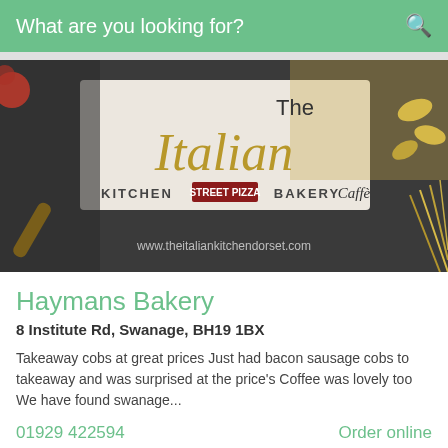What are you looking for?
[Figure (logo): The Italian Kitchen Street Pizza Bakery Caffè banner with food background (pasta, ingredients on dark slate). Website: www.theitaliankitchendorset.com]
Haymans Bakery
8 Institute Rd, Swanage, BH19 1BX
Takeaway cobs at great prices Just had bacon sausage cobs to takeaway and was surprised at the price's Coffee was lovely too We have found swanage...
01929 422594
Order online